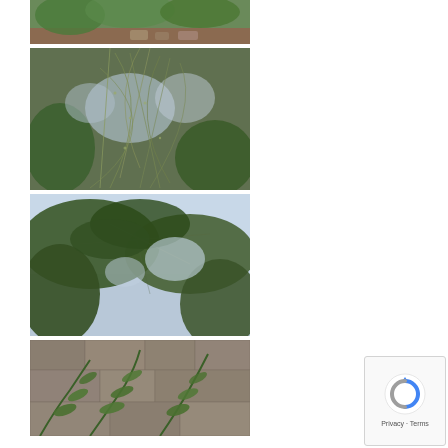[Figure (photo): Outdoor vegetation scene with green plants, shrubs and rocky background in warm outdoor lighting]
[Figure (photo): Close-up of wispy, sparse plant stems and branches with fine texture against blurred green background]
[Figure (photo): View of trees and shrubs against a light blue sky, with leafy branches in the foreground]
[Figure (photo): Close-up of delicate fern-like green leaves against a stone wall background]